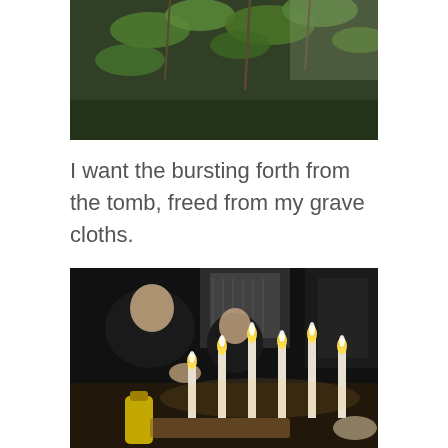[Figure (photo): Partial view of plant leaves and branches against a light background, darkened/shadowed image, top portion cropped]
I want the bursting forth from the tomb, freed from my grave cloths.
[Figure (photo): Dark indoor/outdoor scene with a man and a child seated at a dinner table with multiple lit white candles in the foreground, a yellow condiment bottle visible, dark ambiance]